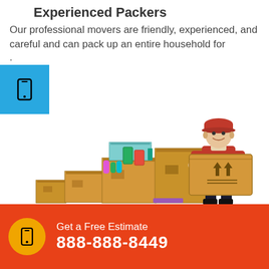Experienced Packers
Our professional movers are friendly, experienced, and careful and can pack up an entire household for .
[Figure (illustration): Illustration of a mover in red uniform and cap carrying a cardboard box, standing next to a stack of moving boxes of various sizes with colored tape and labels]
Get a Free Estimate
888-888-8449